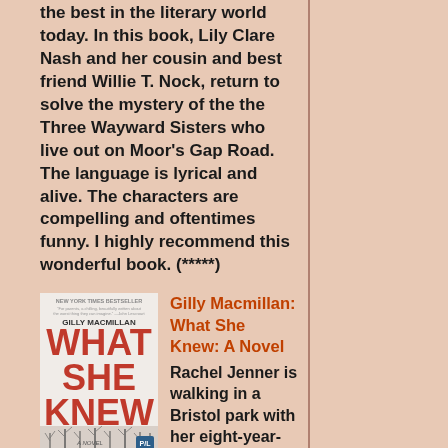the best in the literary world today. In this book, Lily Clare Nash and her cousin and best friend Willie T. Nock, return to solve the mystery of the the Three Wayward Sisters who live out on Moor's Gap Road. The language is lyrical and alive. The characters are compelling and oftentimes funny. I highly recommend this wonderful book. (*****)
[Figure (photo): Book cover of 'What She Knew: A Novel' by Gilly Macmillan, showing large red text title on white background with bare winter trees at bottom]
Gilly Macmillan: What She Knew: A Novel Rachel Jenner is walking in a Bristol park with her eight-year-old son, Ben, when he asks if he can run ahead. It's an ordinary request on an ordinary Sunday afternoon, and Rachel has no reason to worry—until Ben vanishes. Now police must determine who took Ben. Was his father, his father's new wife, the teaching assistant at Ben's school, a bitter ex-lover? Who Be...